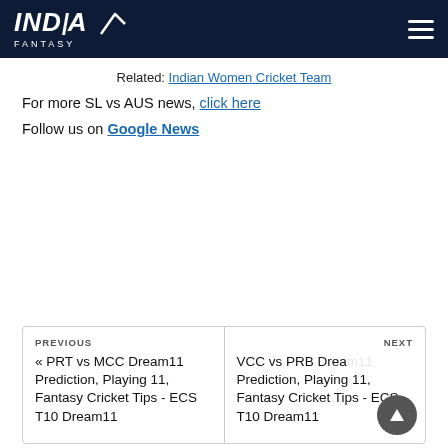INDIA FANTASY
Related: Indian Women Cricket Team
For more SL vs AUS news, click here
Follow us on Google News
PREVIOUS
« PRT vs MCC Dream11 Prediction, Playing 11, Fantasy Cricket Tips - ECS T10 Dream11
NEXT
VCC vs PRB Dream11 Prediction, Playing 11, Fantasy Cricket Tips - ECS T10 Dream11